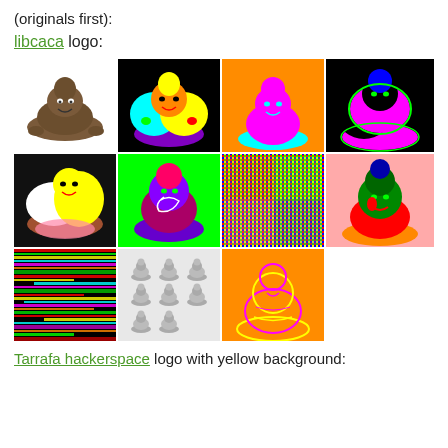(originals first):
libcaca logo:
[Figure (illustration): A 3x4 grid of images showing the libcaca logo (a cartoon poop character) rendered in various psychedelic color effects and filters. Top row: original grayscale/brown poop logo on white, then colorful multi-colored version on black, orange-background magenta version, black-background neon version. Middle row: dark background yellow/white version, purple spiral on green, colorful noise/static pattern, green character on pink. Bottom row: glitchy colorful noise on black, tiled gray poop logo grid on white, orange line-art version on orange. One cell is empty.]
Tarrafa hackerspace logo with yellow background: